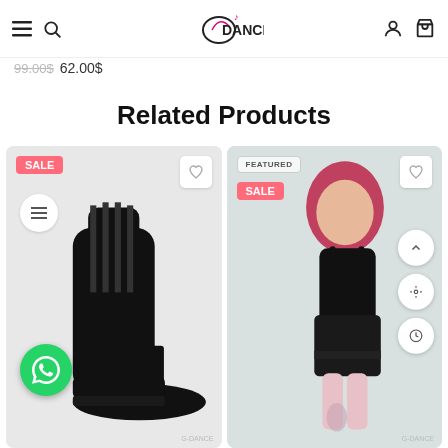G-Dance navigation bar with hamburger menu, search icon, logo, user icon, cart icon
99.00$ 62.00$
Related Products
[Figure (photo): Product photo of black high-heel platform ankle boot with lace-up front, on grey background, with SALE badge, heart button, WhatsApp button, and menu circle.]
[Figure (photo): Product photo of a woman wearing a black bodysuit and black leather corset skirt, with FEATURED and SALE badges, heart button, and floating action buttons on right side.]